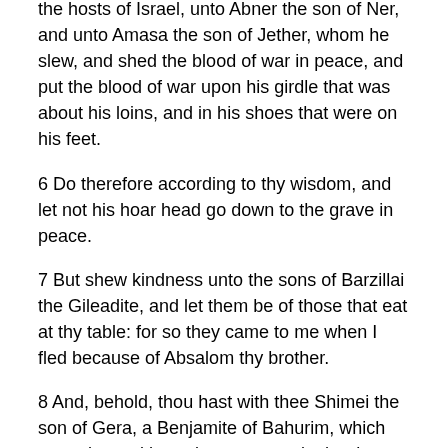the hosts of Israel, unto Abner the son of Ner, and unto Amasa the son of Jether, whom he slew, and shed the blood of war in peace, and put the blood of war upon his girdle that was about his loins, and in his shoes that were on his feet.
6 Do therefore according to thy wisdom, and let not his hoar head go down to the grave in peace.
7 But shew kindness unto the sons of Barzillai the Gileadite, and let them be of those that eat at thy table: for so they came to me when I fled because of Absalom thy brother.
8 And, behold, thou hast with thee Shimei the son of Gera, a Benjamite of Bahurim, which cursed me with a grievous curse in the day when I went to Mahanaim: but he came down to meet me at Jordan, and I sware to him by the